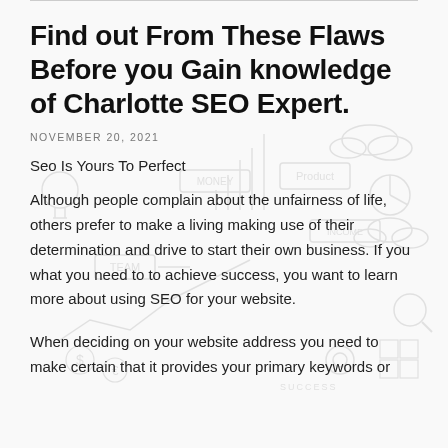Find out From These Flaws Before you Gain knowledge of Charlotte SEO Expert.
NOVEMBER 20, 2021
Seo Is Yours To Perfect
Although people complain about the unfairness of life, others prefer to make a living making use of their determination and drive to start their own business. If you what you need to to achieve success, you want to learn more about using SEO for your website.
When deciding on your website address you need to make certain that it provides your primary keywords or